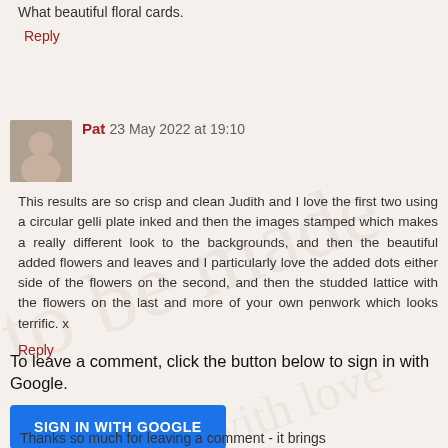What beautiful floral cards.
Reply
Pat  23 May 2022 at 19:10
This results are so crisp and clean Judith and I love the first two using a circular gelli plate inked and then the images stamped which makes a really different look to the backgrounds, and then the beautiful added flowers and leaves and I particularly love the added dots either side of the flowers on the second, and then the studded lattice with the flowers on the last and more of your own penwork which looks terrific. x
Reply
To leave a comment, click the button below to sign in with Google.
SIGN IN WITH GOOGLE
Thanks so much for leaving a comment - it brings